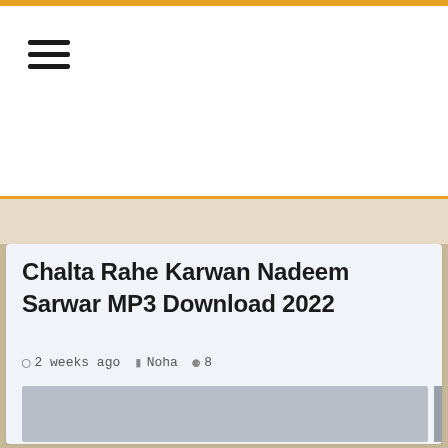Chalta Rahe Karwan Nadeem Sarwar MP3 Download 2022
2 weeks ago   Noha   8
[Figure (photo): Gray placeholder image area for the article content]